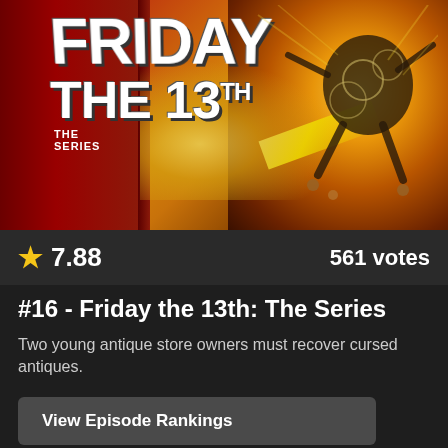[Figure (photo): Promotional poster image for Friday the 13th: The Series, showing red curtained storefront on left with the show title in white blocky letters, and a character made of clock parts on the right against a golden explosion background.]
★ 7.88    561 votes
#16 - Friday the 13th: The Series
Two young antique store owners must recover cursed antiques.
View Episode Rankings